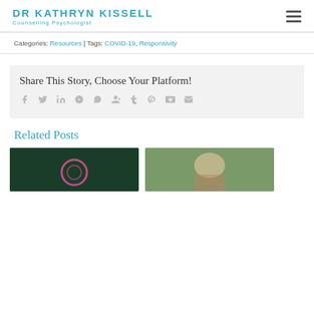DR KATHRYN KISSELL Counselling Psychologist
Categories: Resources | Tags: COVID-19, Responsivity
Share This Story, Choose Your Platform!
[Figure (infographic): Social sharing icons: Facebook, Twitter, LinkedIn, Reddit, WhatsApp, Google+, Tumblr, Pinterest, VK, Email]
Related Posts
[Figure (photo): Dark green foliage background with pink neon circular light]
[Figure (photo): Outdoor scene with person in pink/floral clothing against green background]